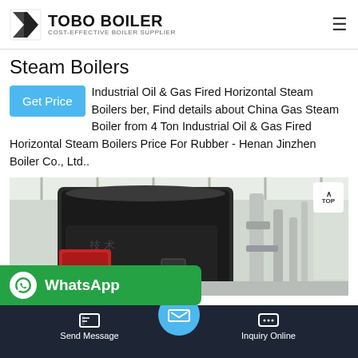TOBO BOILER — COST-EFFECTIVE BOILER SUPPLIER
Steam Boilers
Industrial Oil & Gas Fired Horizontal Steam Boilers ber, Find details about China Gas Steam Boiler from 4 Ton Industrial Oil & Gas Fired Horizontal Steam Boilers Price For Rubber - Henan Jinzhen Boiler Co., Ltd..
[Figure (photo): Industrial steam boiler unit installed in a factory/warehouse setting. Large dark cylindrical boiler with red burner unit at front, pipes on the right side, metal roof structure visible above.]
Send Message | Inquiry Online